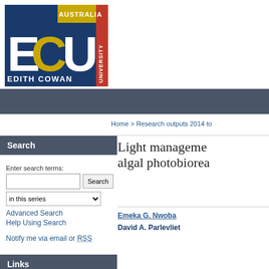[Figure (logo): Edith Cowan University (ECU) logo — Australia ECU Edith Cowan University with blue, gold and red design]
Search
Enter search terms:
in this series
Advanced Search
Help Using Search
Notify me via email or RSS
Links
Home > Research outputs 2014 to
Light management algal photobiore
Emeka G. Nwoba
David A. Parlevliet